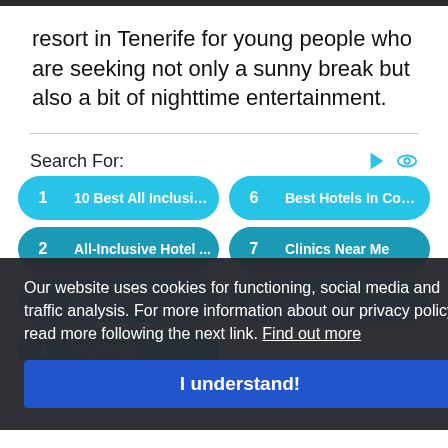resort in Tenerife for young people who are seeking not only a sunny break but also a bit of nighttime entertainment.
Search For:
1  10 Best All Inclusiv...
6  Best Hotels In Cost...
2  All-Inclusive Hotel ...
7  Clinics Near Me
Our website uses cookies for functioning, social media and traffic analysis. For more information about our privacy policy read more following the next link. Find out more
I understand!